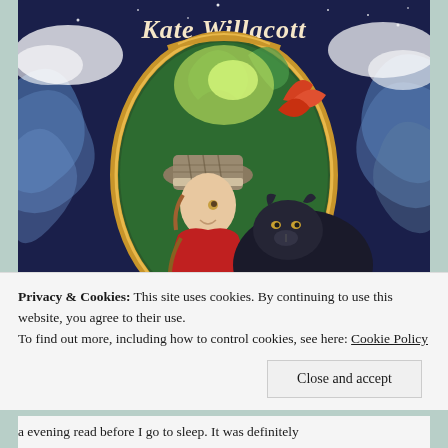[Figure (illustration): Book cover illustration showing a girl in a red coat and plaid hat with a black panther, set inside a golden oval mirror frame, surrounded by dark blue swirling waves and stars. Author name 'Kate Willacott' visible at top in stylized lettering.]
Privacy & Cookies: This site uses cookies. By continuing to use this website, you agree to their use.
To find out more, including how to control cookies, see here: Cookie Policy
Close and accept
a evening read before I go to sleep. It was definitely